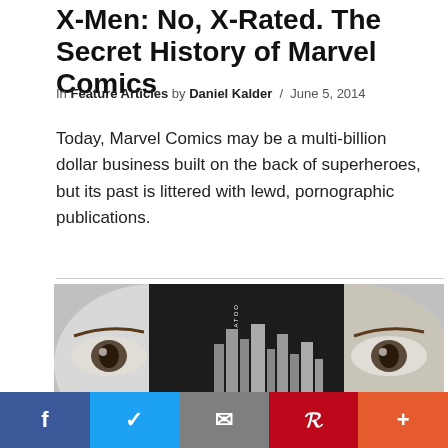X-Men: No, X-Rated. The Secret History of Marvel Comics
In Feature Articles by Daniel Kalder / June 5, 2014
Today, Marvel Comics may be a multi-billion dollar business built on the back of superheroes, but its past is littered with lewd, pornographic publications.
[Figure (photo): Book cover image partially visible, appears to be a drawing of eyes and a cityscape with text 'Russian Criminal Tattoo' on the spine]
Social sharing bar with Facebook, Twitter, Email, Pinterest, and More buttons